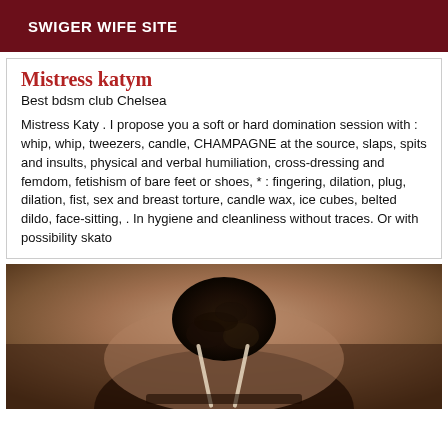SWIGER WIFE SITE
Mistress katym
Best bdsm club Chelsea
Mistress Katy . I propose you a soft or hard domination session with : whip, whip, tweezers, candle, CHAMPAGNE at the source, slaps, spits and insults, physical and verbal humiliation, cross-dressing and femdom, fetishism of bare feet or shoes, * : fingering, dilation, plug, dilation, fist, sex and breast torture, candle wax, ice cubes, belted dildo, face-sitting, . In hygiene and cleanliness without traces. Or with possibility skato
[Figure (photo): Photo of a person seen from behind, showing their back and dark curly hair with arms raised, wearing a light-colored strap garment]